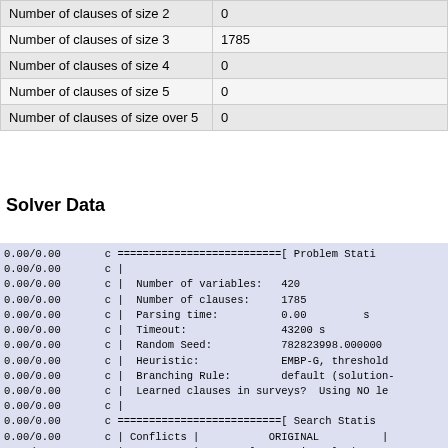|  |  |
| --- | --- |
| Number of clauses of size 2 | 0 |
| Number of clauses of size 3 | 1785 |
| Number of clauses of size 4 | 0 |
| Number of clauses of size 5 | 0 |
| Number of clauses of size over 5 | 0 |
Solver Data
0.00/0.00   c ===========================[ Problem Stati
0.00/0.00   c |
0.00/0.00   c |  Number of variables:   420
0.00/0.00   c |  Number of clauses:     1785
0.00/0.00   c |  Parsing time:          0.00         s
0.00/0.00   c |  Timeout:               43200 s
0.00/0.00   c |  Random Seed:           782823998.000000
0.00/0.00   c |  Heuristic:             EMBP-G, threshold
0.00/0.00   c |  Branching Rule:        default (solution-
0.00/0.00   c |  Learned clauses in surveys?  Using NO le
0.00/0.00   c |
0.00/0.00   c ===========================[ Search Statis
0.00/0.00   c | Conflicts |           ORIGINAL          |
0.00/0.00   c |           | Vars  Clauses Literals |
0.00/0.00   c ==========================================
0.00/0.00   c |         0 |   410    1775    5384 |
0.00/0.01   c |       100 |   410    1775    5384 |
0.00/0.01   c |       250 |   410    1775    5384 |
0.00/0.02   c |       475 |   410    1775    5384 |
0.00/0.03   c |       812 |   410    1775    5384 |
0.00/0.05   c |      1319 |   410    1775    5384 |